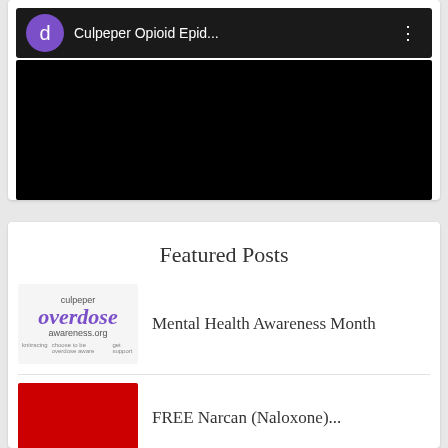[Figure (screenshot): Video player card showing a YouTube-style interface with a purple avatar circle with letter 'd', title 'Culpeper Opioid Epid...' and a black video thumbnail area with three-dot menu]
Featured Posts
[Figure (logo): Culpeper Overdose Awareness.org logo in purple italic text with small tagline links below]
Mental Health Awareness Month
[Figure (screenshot): Red thumbnail image for a second featured post (partially visible at bottom)]
FREE Narcan (Naloxone)...